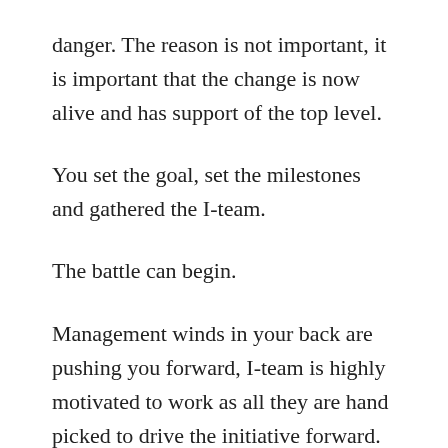danger. The reason is not important, it is important that the change is now alive and has support of the top level.
You set the goal, set the milestones and gathered the I-team.
The battle can begin.
Management winds in your back are pushing you forward, I-team is highly motivated to work as all they are hand picked to drive the initiative forward. You organized few workshop, got some people on board. You managed to collect some ideas, one or two got implemented.